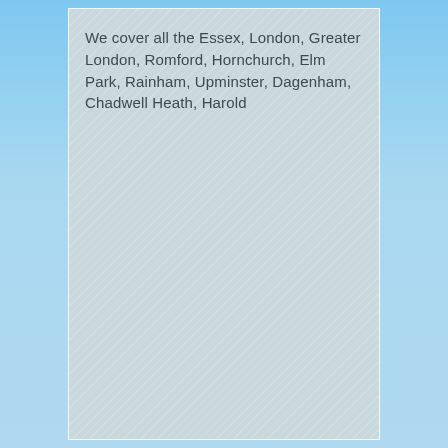We cover all the Essex, London, Greater London, Romford, Hornchurch, Elm Park, Rainham, Upminster, Dagenham, Chadwell Heath, Harold